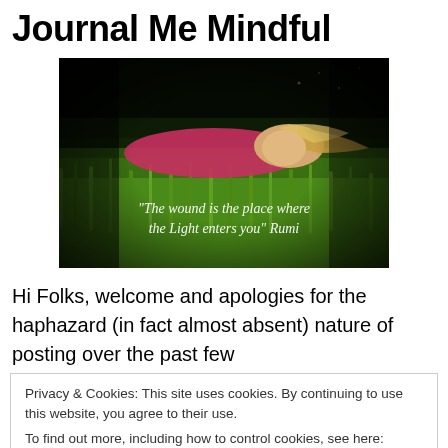Journal Me Mindful
[Figure (photo): Person lying on grass with quote overlay: "The wound is the place where the Light enters you" Rumi]
Hi Folks, welcome and apologies for the haphazard (in fact almost absent) nature of posting over the past few
Privacy & Cookies: This site uses cookies. By continuing to use this website, you agree to their use.
To find out more, including how to control cookies, see here: Cookie Policy
[Close and accept button]
meditation. The feelings of connectedness, calmness and